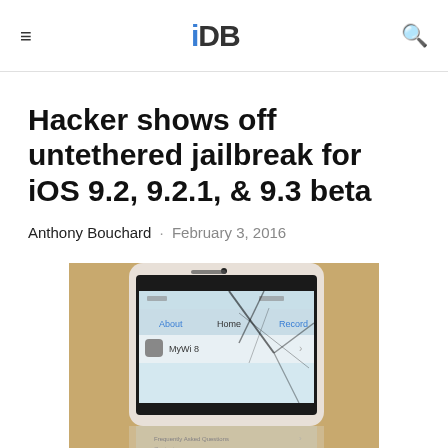iDB
Hacker shows off untethered jailbreak for iOS 9.2, 9.2.1, & 9.3 beta
Anthony Bouchard · February 3, 2016
[Figure (photo): A cracked iPhone screen displaying the MyWi 8 settings screen with About, Home, and Record buttons visible, partially reflected on surface below.]